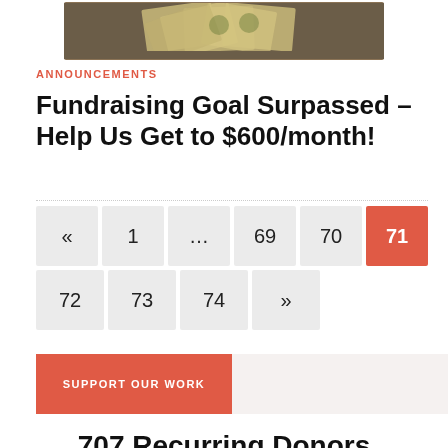[Figure (photo): Photo of US dollar bills spread on a wooden surface, partially visible at top of page]
ANNOUNCEMENTS
Fundraising Goal Surpassed – Help Us Get to $600/month!
« 1 … 69 70 71 72 73 74 »
SUPPORT OUR WORK
707 Recurring Donors
Donate Today